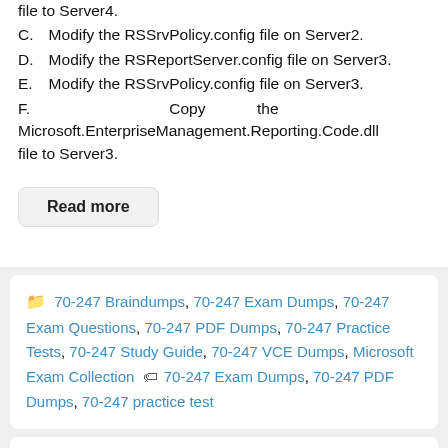file to Server4.
C.   Modify the RSSrvPolicy.config file on Server2.
D.   Modify the RSReportServer.config file on Server3.
E.   Modify the RSSrvPolicy.config file on Server3.
F.   Copy the Microsoft.EnterpriseManagement.Reporting.Code.dll file to Server3.
Read more
70-247 Braindumps, 70-247 Exam Dumps, 70-247 Exam Questions, 70-247 PDF Dumps, 70-247 Practice Tests, 70-247 Study Guide, 70-247 VCE Dumps, Microsoft Exam Collection  70-247 Exam Dumps, 70-247 PDF Dumps, 70-247 practice test
[Dec Update] Latest 70-247 Braindumps For Free